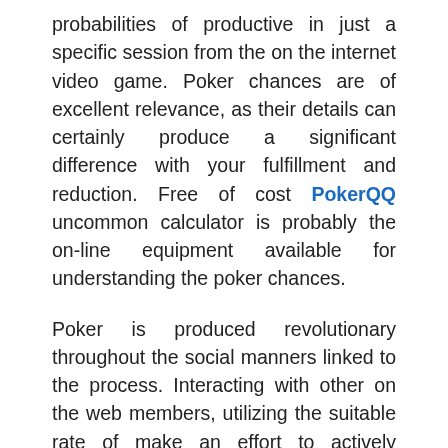probabilities of productive in just a specific session from the on the internet video game. Poker chances are of excellent relevance, as their details can certainly produce a significant difference with your fulfillment and reduction. Free of cost PokerQQ uncommon calculator is probably the on-line equipment available for understanding the poker chances.
Poker is produced revolutionary throughout the social manners linked to the process. Interacting with other on the web members, utilizing the suitable rate of make an effort to actively playing, subjecting the a credit card at ideal time and other details must be learned to obtain called a poker games with etiquette. Learning the complete video game from the rival participant is truly a profitable technique for the poker participant. Even though, it is usually complex to work with poker demonstrates at world